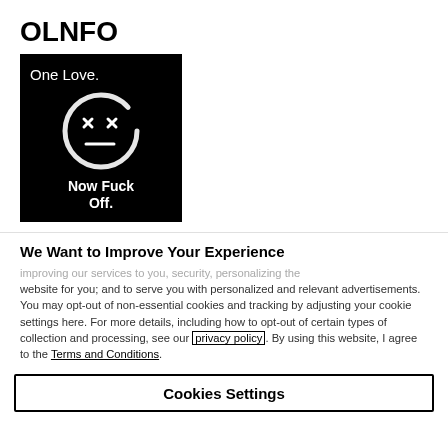OLNFO
[Figure (illustration): Black background image with white handwritten-style text reading 'One Love.' at top, a drawn smiley face with X eyes (dead/ironic smiley), and text 'Now Fuck Off' at bottom.]
We Want to Improve Your Experience
improving our services to you, security, personalizing the website for you; and to serve you with personalized and relevant advertisements. You may opt-out of non-essential cookies and tracking by adjusting your cookie settings here. For more details, including how to opt-out of certain types of collection and processing, see our privacy policy. By using this website, I agree to the Terms and Conditions.
Cookies Settings